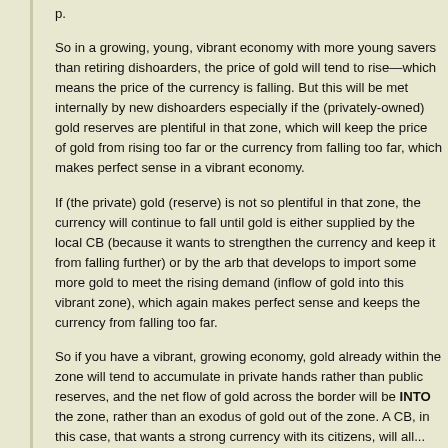p.
So in a growing, young, vibrant economy with more young savers than retiring dishoarders, the price of gold will tend to rise—which means the price of the currency is falling. But this will be met internally by new dishoarders especially if the (privately-owned) gold reserves are plentiful in that zone, which will keep the price of gold from rising too far or the currency from falling too far, which makes perfect sense in a vibrant economy.
If (the private) gold (reserve) is not so plentiful in that zone, the currency will continue to fall until gold is either supplied by the local CB (because it wants to strengthen the currency and keep it from falling further) or by the arb that develops to import some more gold to meet the rising demand (inflow of gold into this vibrant zone), which again makes perfect sense and keeps the currency from falling too far.
So if you have a vibrant, growing economy, gold already within the zone will tend to accumulate in private hands rather than public reserves, and the net flow of gold across the border will be INTO the zone, rather than an exodus of gold out of the zone. A CB, in this case, that wants a strong currency with its citizens, will all...